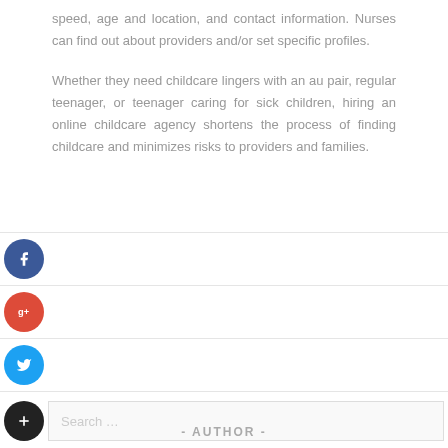speed, age and location, and contact information. Nurses can find out about providers and/or set specific profiles.
Whether they need childcare lingers with an au pair, regular teenager, or teenager caring for sick children, hiring an online childcare agency shortens the process of finding childcare and minimizes risks to providers and families.
[Figure (other): Social media share buttons: Facebook (blue circle with f), Google+ (red circle with g+), Twitter (blue circle with bird icon), and a dark plus/add button with a search input field]
- AUTHOR -